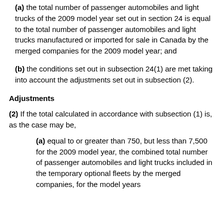(a) the total number of passenger automobiles and light trucks of the 2009 model year set out in section 24 is equal to the total number of passenger automobiles and light trucks manufactured or imported for sale in Canada by the merged companies for the 2009 model year; and
(b) the conditions set out in subsection 24(1) are met taking into account the adjustments set out in subsection (2).
Adjustments
(2) If the total calculated in accordance with subsection (1) is, as the case may be,
(a) equal to or greater than 750, but less than 7,500 for the 2009 model year, the combined total number of passenger automobiles and light trucks included in the temporary optional fleets by the merged companies, for the model years